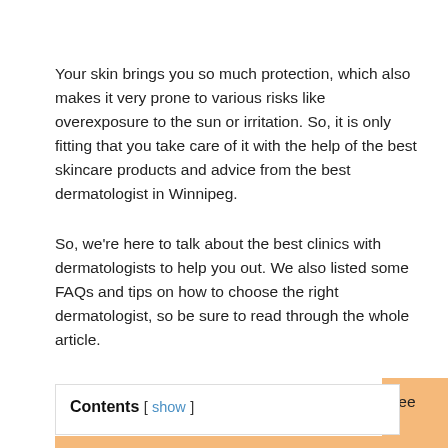Your skin brings you so much protection, which also makes it very prone to various risks like overexposure to the sun or irritation. So, it is only fitting that you take care of it with the help of the best skincare products and advice from the best dermatologist in Winnipeg.
So, we're here to talk about the best clinics with dermatologists to help you out. We also listed some FAQs and tips on how to choose the right dermatologist, so be sure to read through the whole article.
Now, before we tell you about our top picks, let's see how much you may likely spend in a clinic.
Contents [ show ]